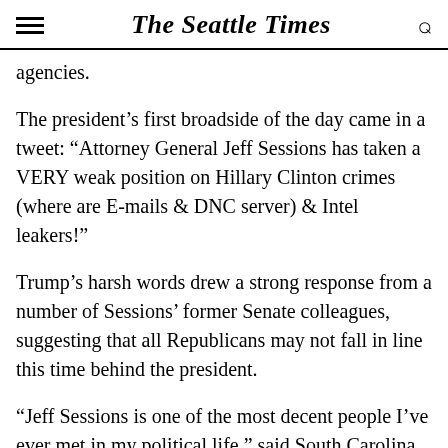The Seattle Times
agencies.
The president's first broadside of the day came in a tweet: “Attorney General Jeff Sessions has taken a VERY weak position on Hillary Clinton crimes (where are E-mails & DNC server) & Intel leakers!”
Trump’s harsh words drew a strong response from a number of Sessions’ former Senate colleagues, suggesting that all Republicans may not fall in line this time behind the president.
“Jeff Sessions is one of the most decent people I’ve ever met in my political life,” said South Carolina Sen. Lindsey Graham. “President Trump’s tweet today suggesting Attorney General Sessions pursue prosecution of a former political rival is highly